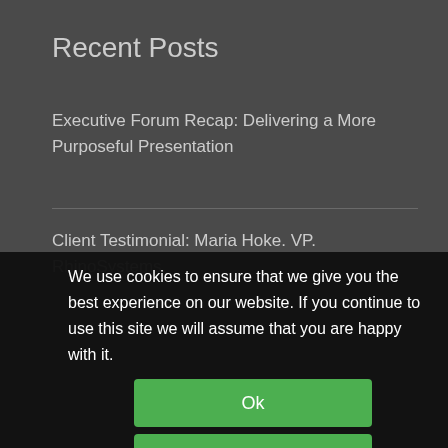Recent Posts
Executive Forum Recap: Delivering a More Purposeful Presentation
Client Testimonial: Maria Hoke. VP. RhinoSystems.
Subscribe
Last Nam
First Name
We use cookies to ensure that we give you the best experience on our website. If you continue to use this site we will assume that you are happy with it.
Ok
Privacy Policy